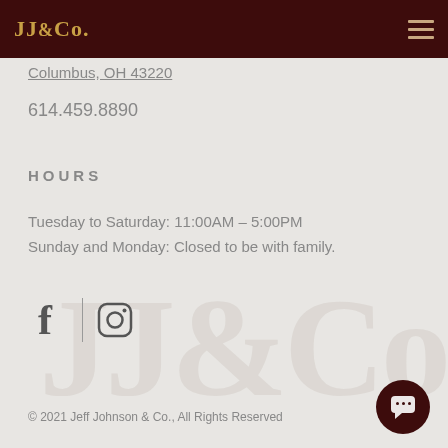JJ&Co.
Columbus, OH 43220
614.459.8890
HOURS
Tuesday to Saturday: 11:00AM – 5:00PM
Sunday and Monday: Closed to be with family.
[Figure (illustration): Facebook and Instagram social media icons with a vertical divider between them]
[Figure (illustration): Faded watermark of JJ&Co. logo in background]
© 2021 Jeff Johnson & Co., All Rights Reserved